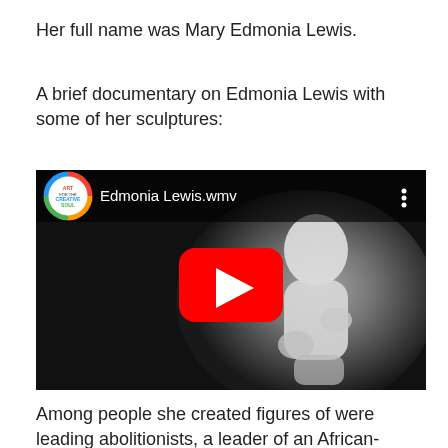Her full name was Mary Edmonia Lewis.
A brief documentary on Edmonia Lewis with some of her sculptures:
[Figure (screenshot): YouTube video thumbnail showing a marble sculpture by Edmonia Lewis with the video title 'Edmonia Lewis.wmv' and an 'Art for the Creative Soul' channel logo.]
Among people she created figures of were leading abolitionists, a leader of an African- American infantry group Robert Shaw, and also the poet Henry Wadsworth